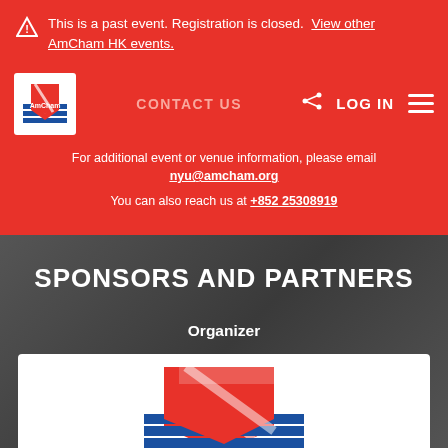This is a past event. Registration is closed. View other AmCham HK events.
[Figure (logo): AmCham Hong Kong logo - red white and blue flag/shield design in white square box]
CONTACT US
LOG IN
For additional event or venue information, please email nyu@amcham.org
You can also reach us at +852 25308919
SPONSORS AND PARTNERS
Organizer
[Figure (logo): AmCham Hong Kong large logo on white card background - red white and blue design]